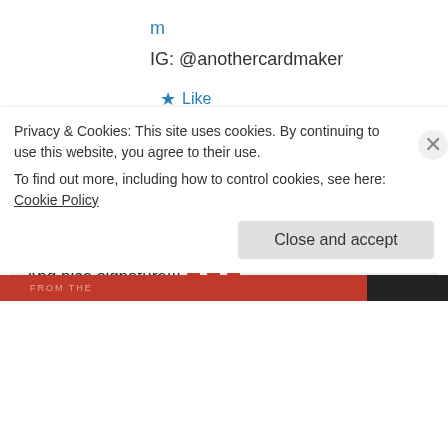m
IG: @anothercardmaker
★ Like
↪ Reply
Karen @ MisplacedMojo.com on August 17, 2020 at 1:58 PM
Why thank you, my sweet squirrel sister!!!
And nice signature!!! ❤ ❤ ❤
Privacy & Cookies: This site uses cookies. By continuing to use this website, you agree to their use.
To find out more, including how to control cookies, see here: Cookie Policy
Close and accept